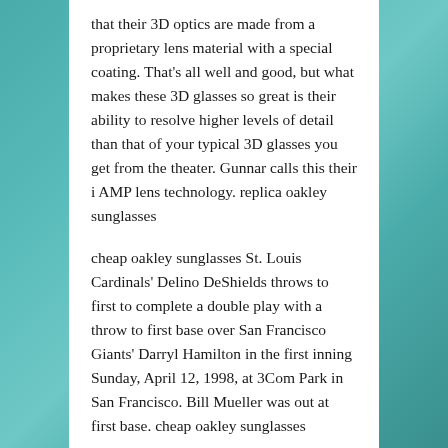that their 3D optics are made from a proprietary lens material with a special coating. That's all well and good, but what makes these 3D glasses so great is their ability to resolve higher levels of detail than that of your typical 3D glasses you get from the theater. Gunnar calls this their i AMP lens technology. replica oakley sunglasses
cheap oakley sunglasses St. Louis Cardinals' Delino DeShields throws to first to complete a double play with a throw to first base over San Francisco Giants' Darryl Hamilton in the first inning Sunday, April 12, 1998, at 3Com Park in San Francisco. Bill Mueller was out at first base. cheap oakley sunglasses
replica oakleys Republican